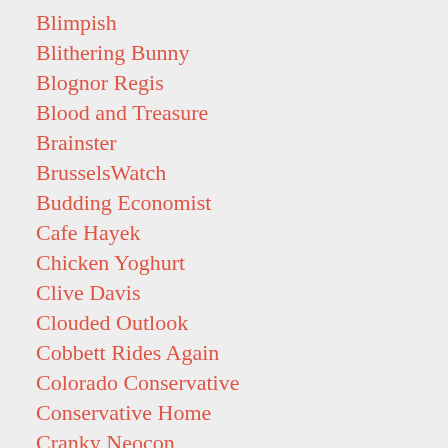Blimpish
Blithering Bunny
Blognor Regis
Blood and Treasure
Brainster
BrusselsWatch
Budding Economist
Cafe Hayek
Chicken Yoghurt
Clive Davis
Clouded Outlook
Cobbett Rides Again
Colorado Conservative
Conservative Home
Cranky Neocon
Dan Hardie